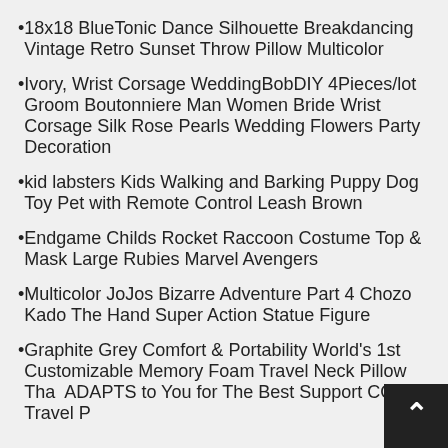18x18 BlueTonic Dance Silhouette Breakdancing Vintage Retro Sunset Throw Pillow Multicolor
Ivory, Wrist Corsage WeddingBobDIY 4Pieces/lot Groom Boutonniere Man Women Bride Wrist Corsage Silk Rose Pearls Wedding Flowers Party Decoration
kid labsters Kids Walking and Barking Puppy Dog Toy Pet with Remote Control Leash Brown
Endgame Childs Rocket Raccoon Costume Top & Mask Large Rubies Marvel Avengers
Multicolor JoJos Bizarre Adventure Part 4 Chozo Kado The Hand Super Action Statue Figure
Graphite Grey Comfort & Portability World's 1st Customizable Memory Foam Travel Neck Pillow That ADAPTS to You for The Best Support CORI Travel P